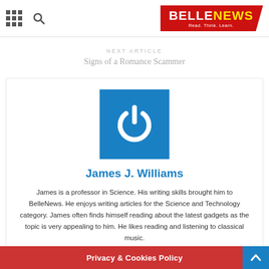BELLENEWS - Read. Think. Learn.
NEXT ARTICLE
Signs of a Romance Scammer
[Figure (logo): Blue square with white power button icon (circle arc with vertical line), representing the default author avatar for BelleNews.]
James J. Williams
James is a professor in Science. His writing skills brought him to BelleNews. He enjoys writing articles for the Science and Technology category. James often finds himself reading about the latest gadgets as the topic is very appealing to him. He likes reading and listening to classical music.
Privacy & Cookies Policy